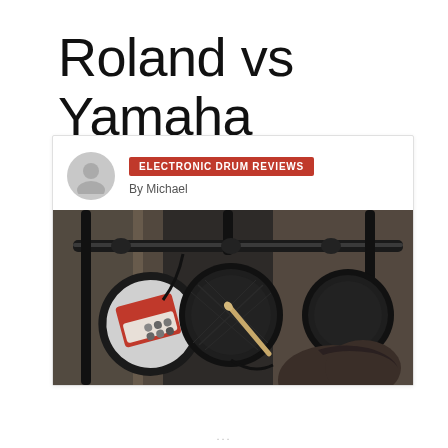Roland vs Yamaha
ELECTRONIC DRUM REVIEWS
By Michael
[Figure (photo): Close-up photo of electronic drum kit pads and rack from behind a drummer's perspective, showing black drum pads mounted on a rack, with a Roland module visible on the left, a drumstick resting on the center pad, and the back of a player's head in the lower right.]
...